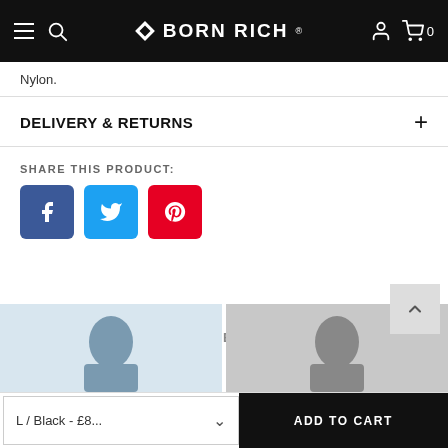BORN RICH
Nylon.
DELIVERY & RETURNS
SHARE THIS PRODUCT:
[Figure (screenshot): Social share buttons: Facebook, Twitter, Pinterest]
RELATED PRODUCTS / RECENTLY VIEWED
[Figure (photo): Two product thumbnail photos showing male models]
L / Black - £8...
ADD TO CART